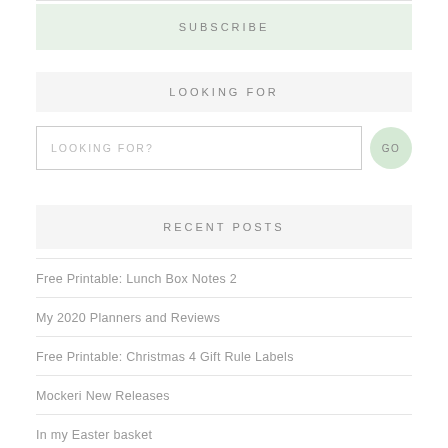SUBSCRIBE
LOOKING FOR
LOOKING FOR?
RECENT POSTS
Free Printable: Lunch Box Notes 2
My 2020 Planners and Reviews
Free Printable: Christmas 4 Gift Rule Labels
Mockeri New Releases
In my Easter basket